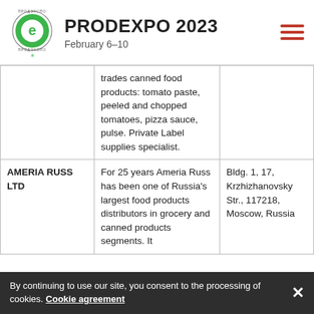PRODEXPO 2023 February 6–10
| Company | Description | Address |
| --- | --- | --- |
|  | trades canned food products: tomato paste, peeled and chopped tomatoes, pizza sauce, pulse. Private Label supplies specialist. |  |
| AMERIA RUSS LTD | For 25 years Ameria Russ has been one of Russia's largest food products distributors in grocery and canned products segments. It | Bldg. 1, 17, Krzhizhanovsky Str., 117218, Moscow, Russia |
By continuing to use our site, you consent to the processing of cookies. Cookie agreement